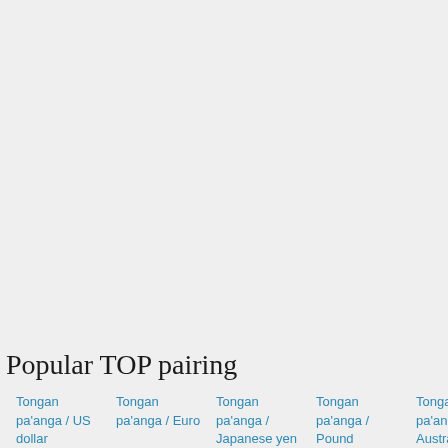Popular TOP pairing
Tongan pa'anga / US dollar
Tongan pa'anga / Euro
Tongan pa'anga / Japanese yen
Tongan pa'anga / Pound
Tongan pa'anga / Australian